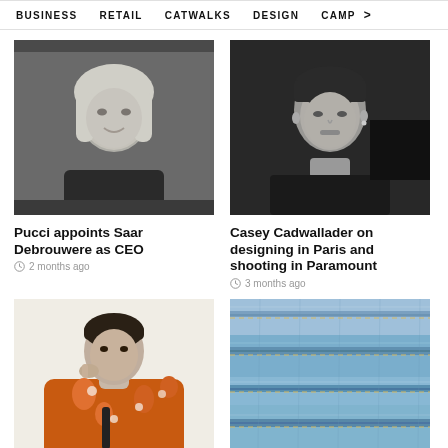BUSINESS   RETAIL   CATWALKS   DESIGN   CAMP >
[Figure (photo): Black and white portrait of a woman with blonde bob haircut, wearing dark top, smiling slightly]
Pucci appoints Saar Debrouwere as CEO
2 months ago
[Figure (photo): Black and white close-up portrait of a young man with short dark hair wearing a black top]
Casey Cadwallader on designing in Paris and shooting in Paramount
3 months ago
[Figure (photo): Color photo of a young man in orange and white floral shirt, hand raised to temple, against light background]
[Figure (photo): Close-up color photo of stacked blue denim jeans fabric showing seams and stitching]